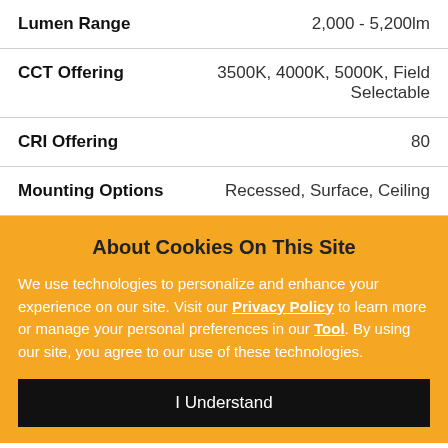| Attribute | Value |
| --- | --- |
| Lumen Range | 2,000 - 5,200lm |
| CCT Offering | 3500K, 4000K, 5000K, Field Selectable |
| CRI Offering | 80 |
| Mounting Options | Recessed, Surface, Ceiling |
About Cookies On This Site
We use technologies to personalize and enhance your experience on our site. Visit our Privacy Policy to learn more or manage your personal preferences in our Tool. By using our site, you agree to our use of these technologies.
I Understand
Do Not Sell My Information